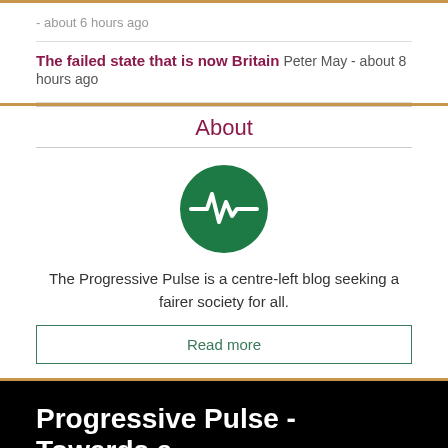- about 6 hours ago
The failed state that is now Britain Peter May - about 8 hours ago
About
[Figure (logo): Green circular logo with a white pulse/heartbeat line through it — Progressive Pulse logo]
The Progressive Pulse is a centre-left blog seeking a fairer society for all.
Read more
Progressive Pulse - Towards a fairer society